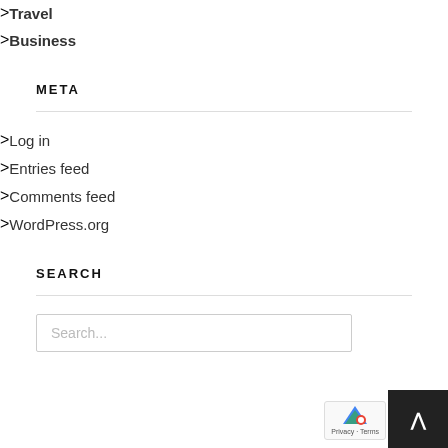Travel
Business
META
Log in
Entries feed
Comments feed
WordPress.org
SEARCH
Search...